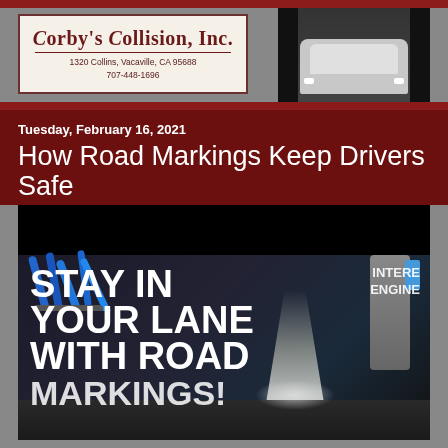[Figure (logo): Corby's Collision Inc. logo with address 1320 Collins, Vacaville, CA 95688, phone 707-448-1696]
[Figure (photo): Car entering a shop/garage bay viewed from inside, dark background]
Tuesday, February 16, 2021
How Road Markings Keep Drivers Safe
[Figure (photo): Road marking machine in action with blue hydraulic hoses, applying white line to asphalt. Text overlay reads STAY IN YOUR LANE WITH ROAD MARKINGS. Brand watermark INTERE ENGINE visible top right.]